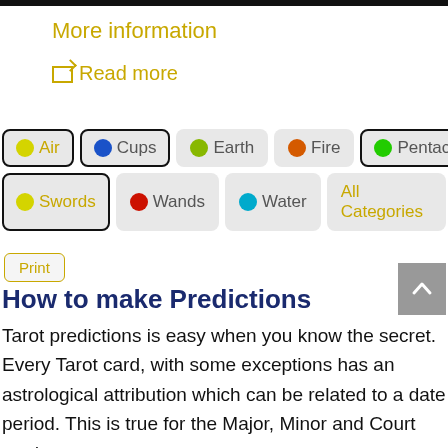More information
☐ Read more
Air
Cups
Earth
Fire
Pentacles
Planet
Swords
Wands
Water
All Categories
Print
How to make Predictions
Tarot predictions is easy when you know the secret. Every Tarot card, with some exceptions has an astrological attribution which can be related to a date period. This is true for the Major, Minor and Court cards